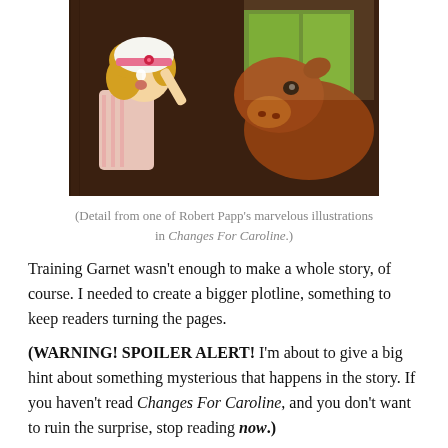[Figure (illustration): A painted illustration showing a young girl in a bonnet and pink headband looking surprised, with a brown cow beside her looking through a window into a barn.]
(Detail from one of Robert Papp's marvelous illustrations in Changes For Caroline.)
Training Garnet wasn't enough to make a whole story, of course. I needed to create a bigger plotline, something to keep readers turning the pages.
(WARNING! SPOILER ALERT! I'm about to give a big hint about something mysterious that happens in the story. If you haven't read Changes For Caroline, and you don't want to ruin the surprise, stop reading now.)